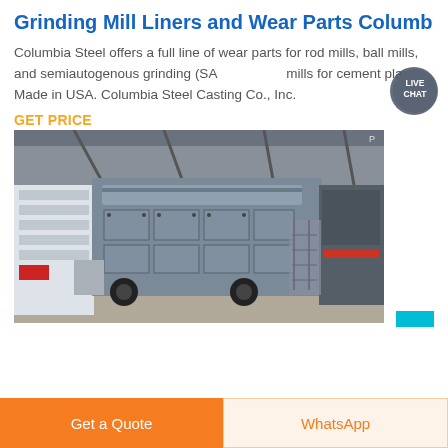Grinding Mill Liners and Wear Parts Columb
Columbia Steel offers a full line of wear parts for rod mills, ball mills, and semiautogenous grinding (SAG) mills for cement plants. Made in USA. Columbia Steel Casting Co., Inc.
GET PRICE
[Figure (photo): Industrial grinding mill machinery inside a large warehouse facility. Large metal mill equipment visible with bolted liner panels and cylindrical components.]
Get a Quote
WhatsApp